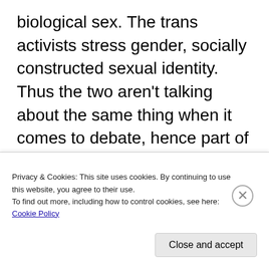biological sex. The trans activists stress gender, socially constructed sexual identity. Thus the two aren't talking about the same thing when it comes to debate, hence part of the failure to find a common ground for agreement. When it comes to racism, she advises her viewers on the way to reply to any communications from HR departments about
Privacy & Cookies: This site uses cookies. By continuing to use this website, you agree to their use.
To find out more, including how to control cookies, see here: Cookie Policy